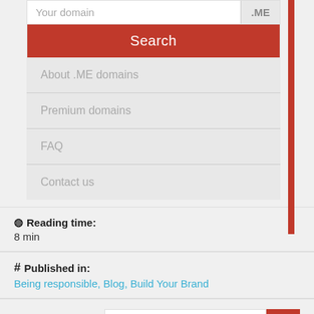Your domain
.ME
Search
About .ME domains
Premium domains
FAQ
Contact us
Reading time: 8 min
Published in: Being responsible, Blog, Build Your Brand
Search our blog: Search Term